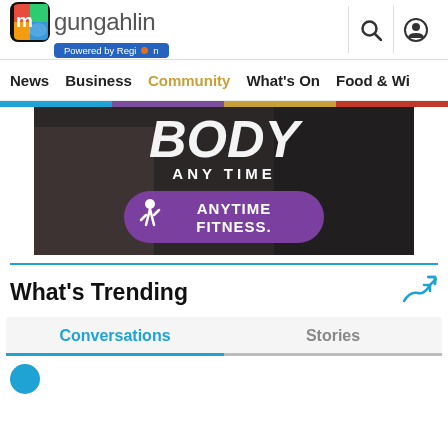my gungahlin — Powered by Region
News  Business  Community  What's On  Food & Wi
[Figure (photo): Anytime Fitness advertisement showing gym equipment and a person on a treadmill with text 'BODY ANY TIME' and Anytime Fitness logo on purple badge]
What's Trending
Conversations  |  Stories